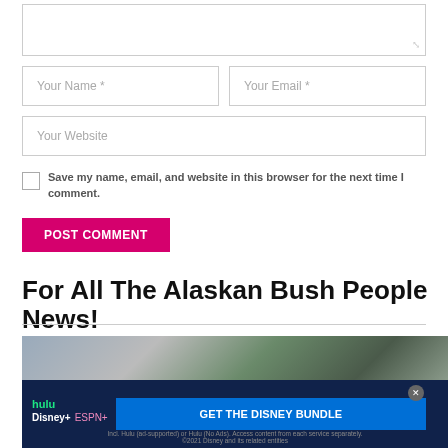[Figure (screenshot): Web form with textarea (partially visible at top), two input fields (Your Name *, Your Email *), a full-width Your Website field, a checkbox with label 'Save my name, email, and website in this browser for the next time I comment.', and a pink POST COMMENT button]
For All The Alaskan Bush People News!
[Figure (photo): Partial outdoor photo with trees and people visible, overlaid by a Disney bundle advertisement banner at the bottom showing Hulu, Disney+, ESPN+ logos and 'GET THE DISNEY BUNDLE' call to action]